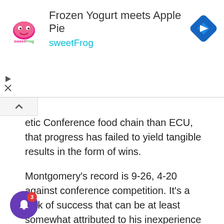[Figure (advertisement): sweetFrog frozen yogurt ad banner with logo, title 'Frozen Yogurt meets Apple Pie', subtitle 'sweetFrog', and a blue diamond navigation icon on the right.]
etic Conference food chain than ECU, that progress has failed to yield tangible results in the form of wins.
Montgomery's record is 9-26, 4-20 against conference competition. It's a lack of success that can be at least somewhat attributed to his inexperience when he was hired by former athletic director Jeff Compher in December 2015.
To his credit, the young coach has shown progress g his tenure in Greenville, especially in the area cruiting. His current class is the highest-rated group of prospects ECU has attracted since the Steve